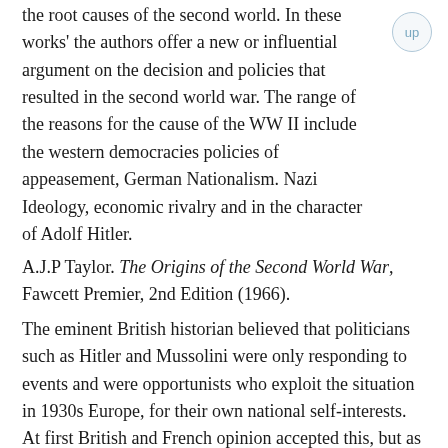the root causes of the second world. In these works' the authors offer a new or influential argument on the decision and policies that resulted in the second world war. The range of the reasons for the cause of the WW II include the western democracies policies of appeasement, German Nationalism. Nazi Ideology, economic rivalry and in the character of Adolf Hitler.
A.J.P Taylor. The Origins of the Second World War, Fawcett Premier, 2nd Edition (1966).
The eminent British historian believed that politicians such as Hitler and Mussolini were only responding to events and were opportunists who exploit the situation in 1930s Europe, for their own national self-interests. At first British and French opinion accepted this, but as Hitler became more ambitious, it was no longer possible for the western democracies to tolerate German expansionism. Public opinion in Britain changed and wanted a more proactive response to Hitler. This led to a change in British foreign